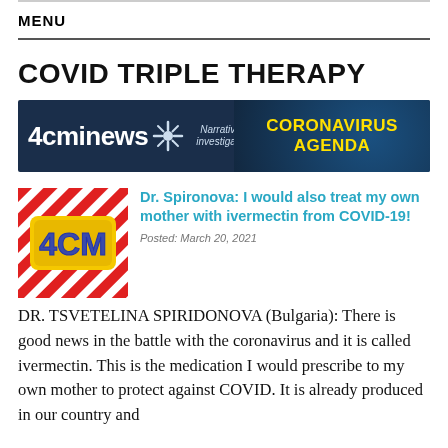MENU
COVID TRIPLE THERAPY
[Figure (logo): 4cminews banner with text '4cminews', a virus icon, 'Narratives investigated', and 'CORONAVIRUS AGENDA' in yellow on dark blue background]
[Figure (logo): 4CM logo thumbnail - red diagonal stripes background with yellow 3D '4CM' text]
Dr. Spironova: I would also treat my own mother with ivermectin from COVID-19!
Posted: March 20, 2021
DR. TSVETELINA SPIRIDONOVA (Bulgaria): There is good news in the battle with the coronavirus and it is called ivermectin. This is the medication I would prescribe to my own mother to protect against COVID. It is already produced in our country and